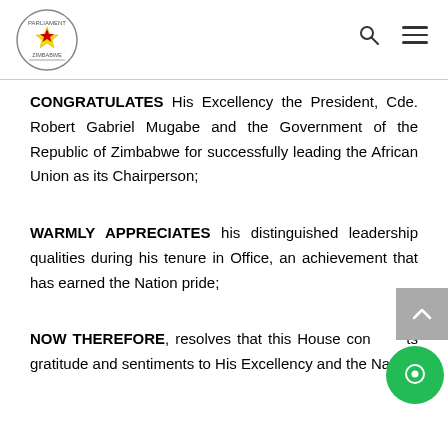Parliament of Zimbabwe header with logo and navigation icons
CONGRATULATES His Excellency the President, Cde. Robert Gabriel Mugabe and the Government of the Republic of Zimbabwe for successfully leading the African Union as its Chairperson;
WARMLY APPRECIATES his distinguished leadership qualities during his tenure in Office, an achievement that has earned the Nation pride;
NOW THEREFORE, resolves that this House conveys its gratitude and sentiments to His Excellency and the Nation